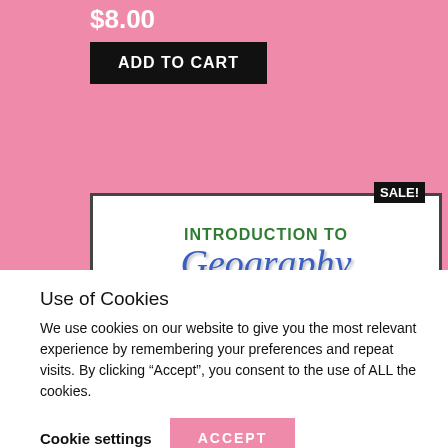$8.00
ADD TO CART
[Figure (illustration): Product image for 'Introduction to Geography Bundle - 5 Digital and Paper Activities' with a SALE! badge. Text styled with colorful fonts on white background.]
Use of Cookies
We use cookies on our website to give you the most relevant experience by remembering your preferences and repeat visits. By clicking “Accept”, you consent to the use of ALL the cookies.
Cookie settings
ACCEPT